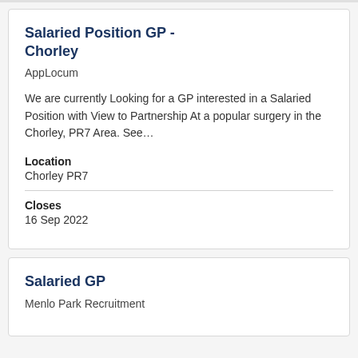Salaried Position GP - Chorley
AppLocum
We are currently Looking for a GP interested in a Salaried Position with View to Partnership At a popular surgery in the Chorley, PR7 Area. See…
Location
Chorley PR7
Closes
16 Sep 2022
Salaried GP
Menlo Park Recruitment